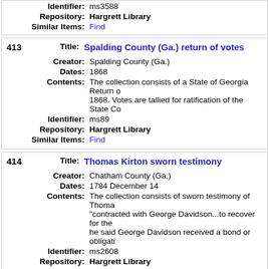| Identifier: | ms3588 |
| Repository: | Hargrett Library |
| Similar Items: | Find |
| 413 | Title: | Spalding County (Ga.) return of votes |
| Creator: | Spalding County (Ga.) |
| Dates: | 1868 |
| Contents: | The collection consists of a State of Georgia Return of 1868. Votes are tallied for ratification of the State Co... |
| Identifier: | ms89 |
| Repository: | Hargrett Library |
| Similar Items: | Find |
| 414 | Title: | Thomas Kirton sworn testimony |
| Creator: | Chatham County (Ga.) |
| Dates: | 1784 December 14 |
| Contents: | The collection consists of sworn testimony of Thoma... "contracted with George Davidson...to recover for the... he said George Davidson received a bond or obligati... |
| Identifier: | ms2608 |
| Repository: | Hargrett Library |
| Similar Items: | Find |
| 415 | Title: | Upson County (Ga.) inventories of deceased pers... |